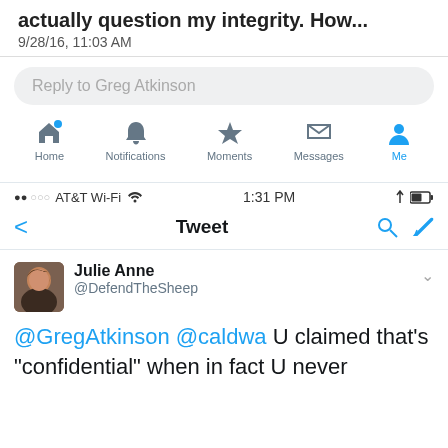actually question my integrity. How...
9/28/16, 11:03 AM
[Figure (screenshot): Twitter reply box with 'Reply to Greg Atkinson' placeholder and bottom navigation bar with Home, Notifications, Moments, Messages, Me icons]
[Figure (screenshot): Second Twitter screenshot showing AT&T Wi-Fi status bar at 1:31 PM, Tweet detail view with back arrow and search/compose icons, then Julie Anne @DefendTheSheep profile with tweet text starting '@GregAtkinson @caldwa U claimed that's "confidential" when in fact U never']